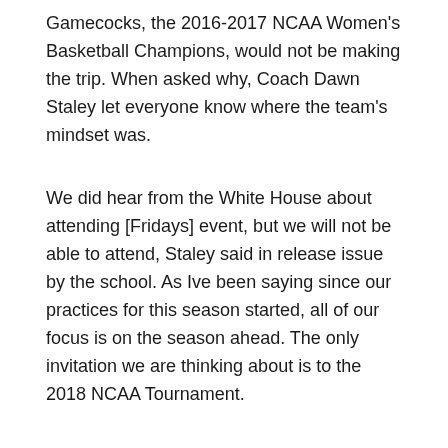Gamecocks, the 2016-2017 NCAA Women's Basketball Champions, would not be making the trip. When asked why, Coach Dawn Staley let everyone know where the team's mindset was.
We did hear from the White House about attending [Fridays] event, but we will not be able to attend, Staley said in release issue by the school. As Ive been saying since our practices for this season started, all of our focus is on the season ahead. The only invitation we are thinking about is to the 2018 NCAA Tournament.